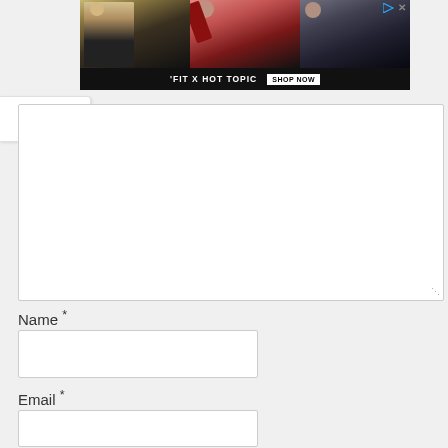[Figure (screenshot): Advertisement banner for 'FIT X HOT TOPIC' featuring three people (young adults) with a 'SHOP NOW' button on a dark background. Play and close icons in top right corner.]
[Figure (screenshot): A collapse/minimize button with a chevron up arrow (^) on the left side of the page.]
[Figure (screenshot): A large empty comment textarea with a resize handle in the bottom right corner.]
Name *
[Figure (screenshot): Empty text input field for Name]
Email *
[Figure (screenshot): Empty text input field for Email]